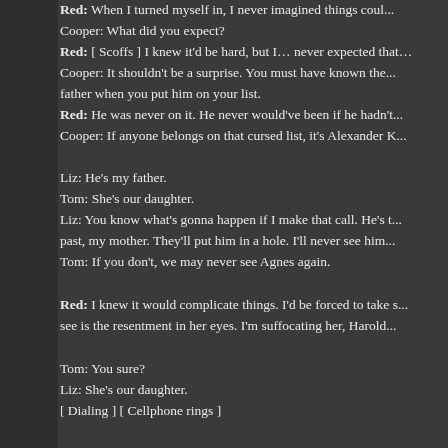Red: When I turned myself in, I never imagined things cou...
Cooper: What did you expect?
Red: [ Scoffs ] I knew it'd be hard, but I... never expected that...
Cooper: It shouldn't be a surprise. You must have known the... father when you put him on your list.
Red: He was never on it. He never would've been if he hadn't...
Cooper: If anyone belongs on that cursed list, it's Alexander K...
Liz: He's my father.
Tom: She's our daughter.
Liz: You know what's gonna happen if I make that call. He's t... past, my mother. They'll put him in a hole. I'll never see him...
Tom: If you don't, we may never see Agnes again.
Red: I knew it would complicate things. I'd be forced to take s... see is the resentment in her eyes. I'm suffocating her, Harold...
Tom: You sure?
Liz: She's our daughter.
[ Dialing ] [ Cellphone rings ]